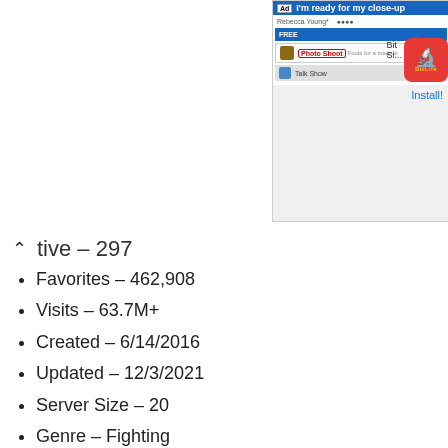[Figure (screenshot): Advertisement banner for BitLife app showing a phone screen with 'I'm ready for my close-up' text, Free label, Photo Shoot option circled in red with a red arrow, Talk Show option, and an Install! link. BitLife app icon shown to the right.]
Active – 297
Favorites – 462,908
Visits – 63.7M+
Created – 6/14/2016
Updated – 12/3/2021
Server Size – 20
Genre – Fighting
Roblox Book of Monsters Badges